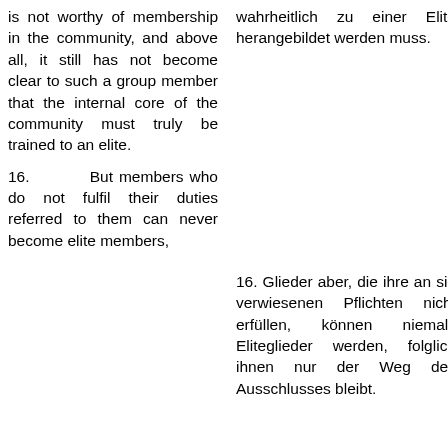is not worthy of membership in the community, and above all, it still has not become clear to such a group member that the internal core of the community must truly be trained to an elite.
wahrheitlich zu einer Elite herangebildet werden muss.
16.  But members who do not fulfil their duties referred to them can never become elite members,
16. Glieder aber, die ihre an sie verwiesenen Pflichten nicht erfüllen, können niemals Eliteglieder werden, folglich ihnen nur der Weg des Ausschlusses bleibt.